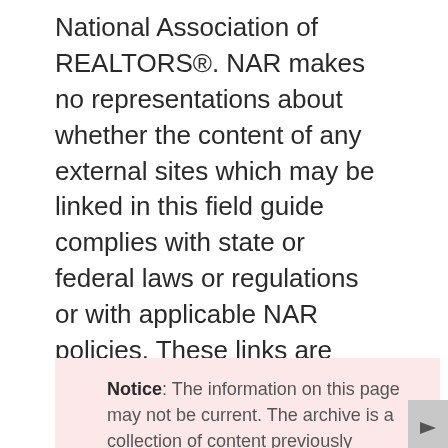National Association of REALTORS®. NAR makes no representations about whether the content of any external sites which may be linked in this field guide complies with state or federal laws or regulations or with applicable NAR policies. These links are provided for your convenience only and you rely on them at your own risk.
Notice: The information on this page may not be current. The archive is a collection of content previously published on one or more NAR web properties. Archive pages are not updated and may no longer be accurate. Users must independently verify the accuracy and currency of the information found here. The National